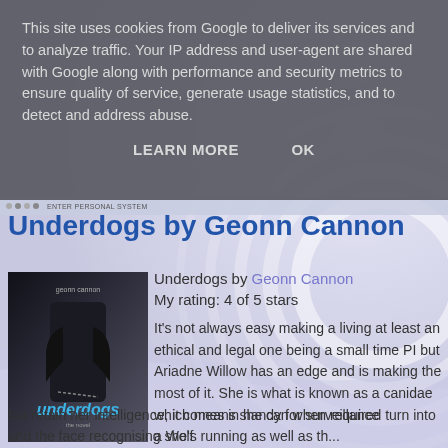This site uses cookies from Google to deliver its services and to analyze traffic. Your IP address and user-agent are shared with Google along with performance and security metrics to ensure quality of service, generate usage statistics, and to detect and address abuse.
LEARN MORE    OK
Underdogs by Geonn Cannon
[Figure (photo): Book cover of Underdogs by Geonn Cannon showing a person in a black leather jacket with chains, with stylized text 'underdogs' in blue.]
Underdogs by Geonn Cannon
My rating: 4 of 5 stars
It's not always easy making a living at least an ethical and legal one being a small time PI but Ariadne Willow has an edge and is making the most of it. She is what is known as a canidae which means she can when required turn into a Wolf but retain her intelligence, it comes in handy for surveillance and the face recognising she's running as well as th...